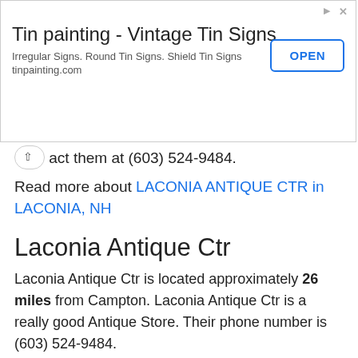[Figure (other): Advertisement banner for tinpainting.com - Tin painting Vintage Tin Signs with OPEN button]
act them at (603) 524-9484.
Read more about LACONIA ANTIQUE CTR in LACONIA, NH
Laconia Antique Ctr
Laconia Antique Ctr is located approximately 26 miles from Campton. Laconia Antique Ctr is a really good Antique Store. Their phone number is (603) 524-9484.
Read more about Laconia Antique Ctr in Laconia, NH
NEW HAMPSHIRE COUNTRY STORE